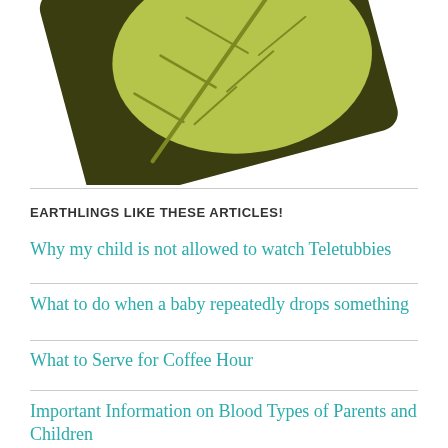[Figure (illustration): A stylized illustration of a large green leaf with visible veins, set against a dark olive/brown background, rotated slightly, partially cropped at top of page.]
EARTHLINGS LIKE THESE ARTICLES!
Why my child is not allowed to watch Teletubbies
What to do when a baby repeatedly drops something
What to Serve for Coffee Hour
Important Information on Blood Types of Parents and Children